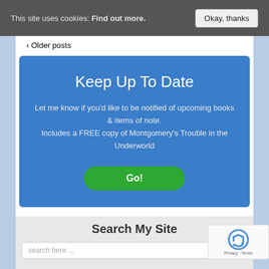This site uses cookies: Find out more. Okay, thanks
‹ Older posts
Keep Up To Date
Let me know if you'd like to be notified of upcoming books & items of note. Includes a FREE copy of Montgomery's Trouble in the Underworld
Go!
Search My Site
search here ...
Go
[Figure (logo): reCAPTCHA logo with Privacy and Terms links]